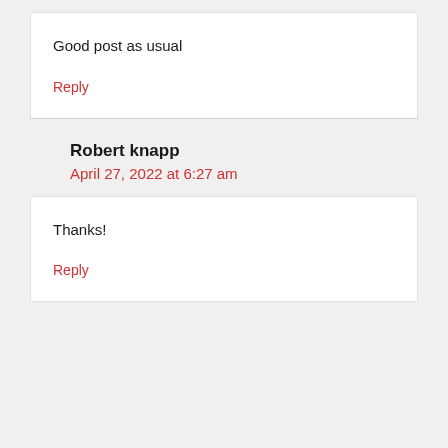Good post as usual
Reply
Robert knapp
April 27, 2022 at 6:27 am
Thanks!
Reply